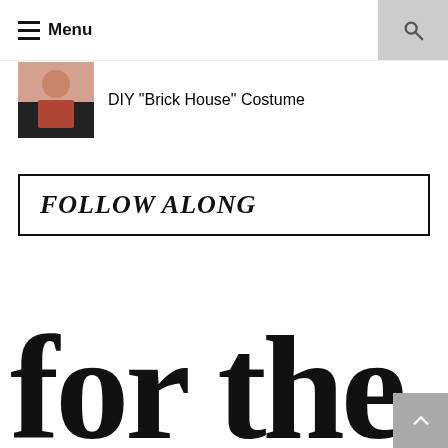Menu
DIY "Brick House" Costume
FOLLOW ALONG
[Figure (illustration): Large decorative serif text reading 'for the' in black, partially cropped at the bottom of the page]